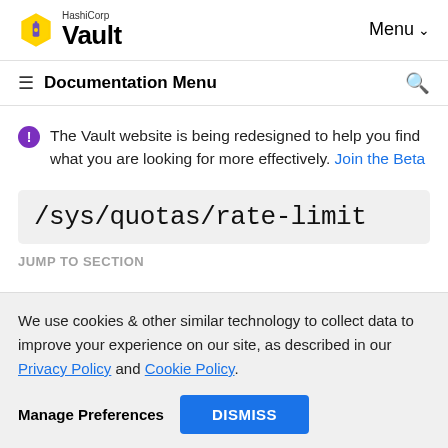HashiCorp Vault — Menu
Documentation Menu
The Vault website is being redesigned to help you find what you are looking for more effectively. Join the Beta
/sys/quotas/rate-limit
JUMP TO SECTION
We use cookies & other similar technology to collect data to improve your experience on our site, as described in our Privacy Policy and Cookie Policy.
Manage Preferences  DISMISS